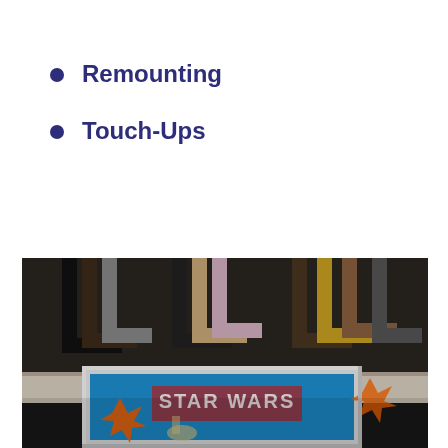Remounting
Touch-Ups
[Figure (photo): A framed Star Wars comic book displayed on a table in a framing shop, with rows of frame corner samples visible in the background.]